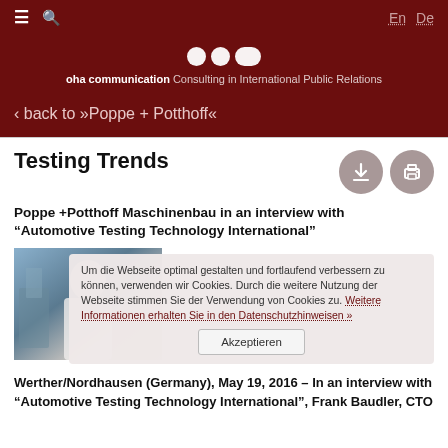≡ 🔍   En  De
[Figure (logo): oha communication logo with three white dots/circles and tagline: oha communication Consulting in International Public Relations]
‹ back to »Poppe + Potthoff«
Testing Trends
Poppe +Potthoff Maschinenbau in an interview with "Automotive Testing Technology International"
[Figure (photo): Photo of a person in a lab/industrial setting, partially obscured by cookie consent banner]
Um die Webseite optimal gestalten und fortlaufend verbessern zu können, verwenden wir Cookies. Durch die weitere Nutzung der Webseite stimmen Sie der Verwendung von Cookies zu. Weitere Informationen erhalten Sie in den Datenschutzhinweisen »
Akzeptieren
Werther/Nordhausen (Germany), May 19, 2016 – In an interview with "Automotive Testing Technology International", Frank Baudler, CTO